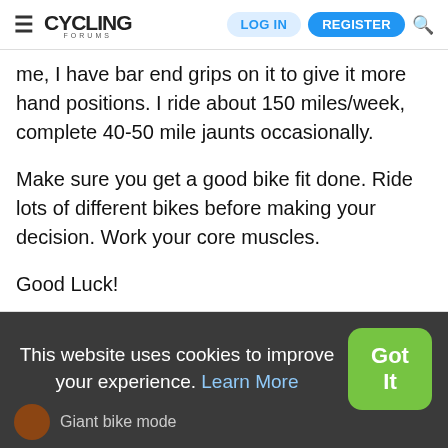CYCLING FORUMS — LOG IN — REGISTER
me, I have bar end grips on it to give it more hand positions. I ride about 150 miles/week, complete 40-50 mile jaunts occasionally.

Make sure you get a good bike fit done. Ride lots of different bikes before making your decision. Work your core muscles.

Good Luck!
You must log in or register to reply here.
This website uses cookies to improve your experience. Learn More
Giant bike mode